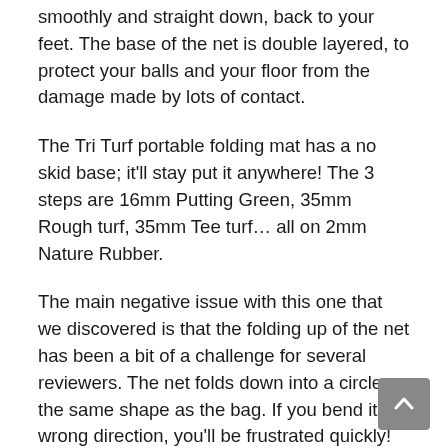dispersed evenly – which drops the ball smoothly and straight down, back to your feet. The base of the net is double layered, to protect your balls and your floor from the damage made by lots of contact.
The Tri Turf portable folding mat has a no skid base; it'll stay put it anywhere! The 3 steps are 16mm Putting Green, 35mm Rough turf, 35mm Tee turf… all on 2mm Nature Rubber.
The main negative issue with this one that we discovered is that the folding up of the net has been a bit of a challenge for several reviewers. The net folds down into a circle, the same shape as the bag. If you bend it the wrong direction, you'll be frustrated quickly! Thankfully, the specific